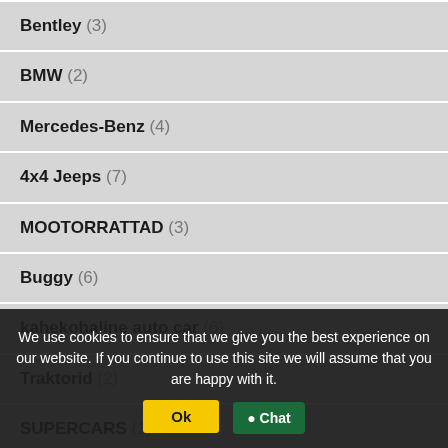Bentley (3)
BMW (2)
Mercedes-Benz (4)
4x4 Jeeps (7)
MOOTORRATTAD (3)
Buggy (6)
kahekohaline auto car (6)
Traktorid (2)
SUPERCARS (1)
Kvadracikli (1)
We use cookies to ensure that we give you the best experience on our website. If you continue to use this site we will assume that you are happy with it.